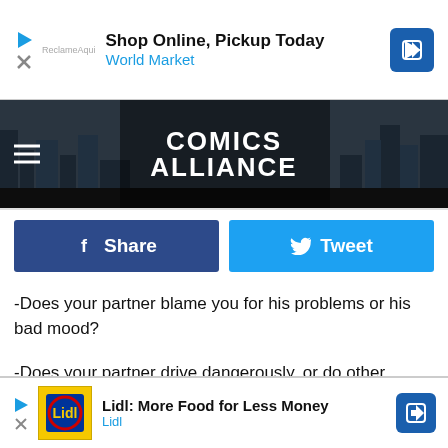[Figure (screenshot): Top advertisement banner: 'Shop Online, Pickup Today / World Market' with play and close icons and a blue navigation arrow icon]
[Figure (logo): Comics Alliance website header banner with dark city skyline background and white bold text 'COMICS ALLIANCE', hamburger menu icon on left]
[Figure (screenshot): Facebook Share button (dark blue) and Twitter Tweet button (light blue) side by side]
-Does your partner blame you for his problems or his bad mood?
-Does your partner drive dangerously, or do other things to scare you?
-Have you lost friends or no longer see some of your family because of your partner?
[Figure (screenshot): Bottom advertisement: 'Lidl: More Food for Less Money / Lidl' with Lidl logo image and blue navigation arrow icon]